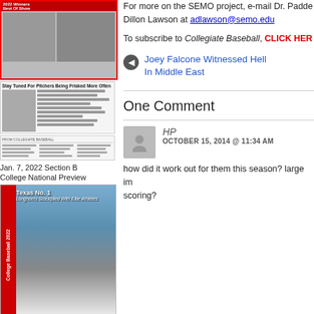[Figure (photo): Magazine cover top section with red border, showing Best Of Show label and photos of people]
[Figure (photo): Magazine page section with headline 'Stay Tuned For Pitchers Being Frisked More Often' and photo]
[Figure (photo): Magazine bottom strip with column text]
Jan. 7, 2022 Section B
College National Preview
[Figure (photo): College Baseball 2022 magazine cover showing Texas No. 1 pitcher, with red sidebar text 'College Baseball 2022']
For more on the SEMO project, e-mail Dr. Padde Dillon Lawson at adlawson@semo.edu
To subscribe to Collegiate Baseball, CLICK HERE
Joey Falcone Witnessed Hell In Middle East
One Comment
HP
OCTOBER 15, 2014 @ 11:34 AM
how did it work out for them this season? large im scoring?